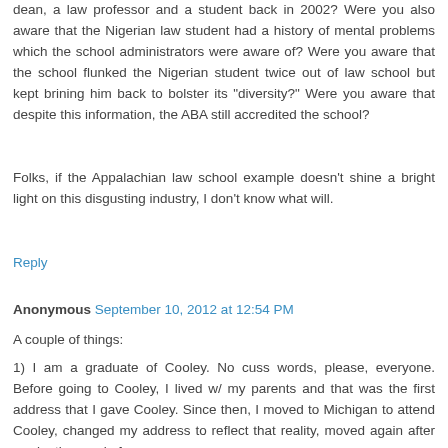dean, a law professor and a student back in 2002? Were you also aware that the Nigerian law student had a history of mental problems which the school administrators were aware of? Were you aware that the school flunked the Nigerian student twice out of law school but kept brining him back to bolster its "diversity?" Were you aware that despite this information, the ABA still accredited the school?
Folks, if the Appalachian law school example doesn't shine a bright light on this disgusting industry, I don't know what will.
Reply
Anonymous September 10, 2012 at 12:54 PM
A couple of things:
1) I am a graduate of Cooley. No cuss words, please, everyone. Before going to Cooley, I lived w/ my parents and that was the first address that I gave Cooley. Since then, I moved to Michigan to attend Cooley, changed my address to reflect that reality, moved again after graduating, and of